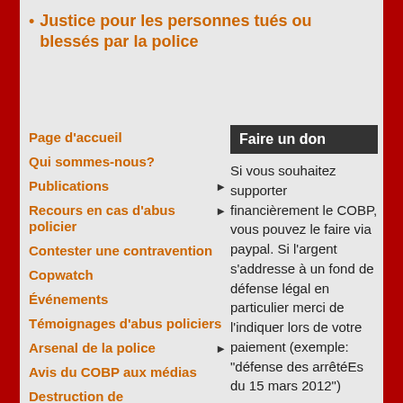Justice pour les personnes tués ou blessés par la police
Page d'accueil
Qui sommes-nous?
Publications ▶
Recours en cas d'abus policier ▶
Contester une contravention
Copwatch
Événements
Témoignages d'abus policiers
Arsenal de la police ▶
Avis du COBP aux médias
Destruction de
Faire un don
Si vous souhaitez supporter financièrement le COBP, vous pouvez le faire via paypal. Si l'argent s'addresse à un fond de défense légal en particulier merci de l'indiquer lors de votre paiement (exemple: "défense des arrêtéEs du 15 mars 2012")
[Figure (other): Yellow donate button labeled 'Faire un don' with rounded corners]